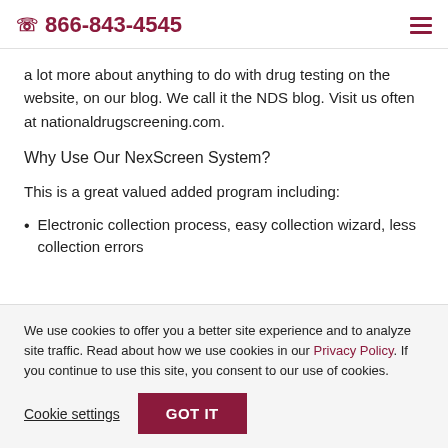866-843-4545
a lot more about anything to do with drug testing on the website, on our blog. We call it the NDS blog. Visit us often at nationaldrugscreening.com.
Why Use Our NexScreen System?
This is a great valued added program including:
Electronic collection process, easy collection wizard, less collection errors
We use cookies to offer you a better site experience and to analyze site traffic. Read about how we use cookies in our Privacy Policy. If you continue to use this site, you consent to our use of cookies.
Cookie settings | GOT IT